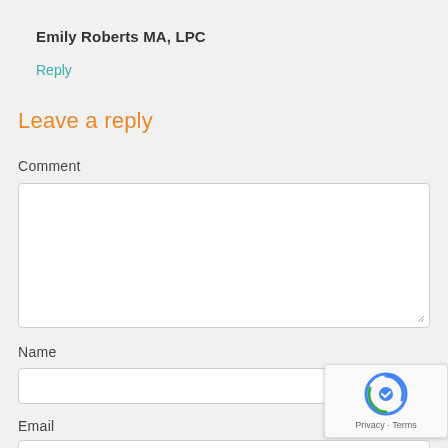Emily Roberts MA, LPC
Reply
Leave a reply
Comment
[Figure (other): Empty comment textarea input field with resize handle]
Name
[Figure (other): Empty name text input field]
[Figure (other): reCAPTCHA badge with Privacy and Terms links]
Email
[Figure (other): Empty email text input field (partially visible)]